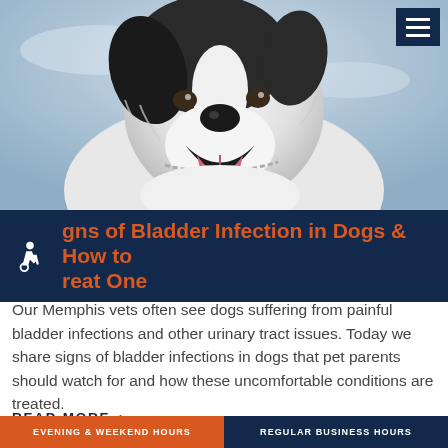[Figure (photo): Close-up photo of a fluffy black and white border collie dog with mouth open and tongue out, wearing a chain collar, against a blue sky background]
Signs of Bladder Infection in Dogs & How to Treat One
Our Memphis vets often see dogs suffering from painful bladder infections and other urinary tract issues. Today we share signs of bladder infections in dogs that pet parents should watch for and how these uncomfortable conditions are treated.
READ MORE >
EVENING & WEEKEND HOURS | REGULAR BUSINESS HOURS